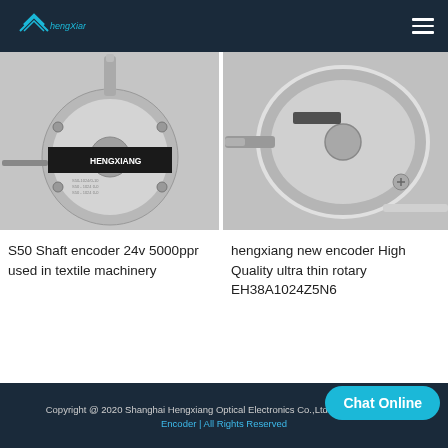hengxiang
[Figure (photo): S50 shaft encoder, silver/metallic rotary encoder with black label reading HENGXIANG, with cable attached]
[Figure (photo): HengXiang new ultra-thin rotary encoder EH38A1024Z5N6, silver metallic disc-shaped encoder with shaft]
S50 Shaft encoder 24v 5000ppr used in textile machinery
hengxiang new encoder High Quality ultra thin rotary EH38A1024Z5N6
Copyright @ 2020 Shanghai Hengxiang Optical Electronics Co.,Ltd - Rotary Encoder | All Rights Reserved